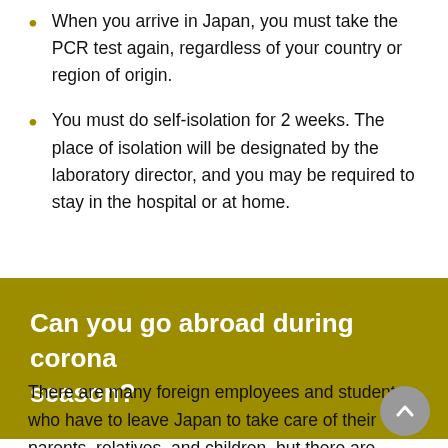When you arrive in Japan, you must take the PCR test again, regardless of your country or region of origin.
You must do self-isolation for 2 weeks. The place of isolation will be designated by the laboratory director, and you may be required to stay in the hospital or at home.
Can you go abroad during corona season?
There are many foreign employees and students who have to leave Japan to take care of their parents, relatives, and children, but there are many countries like